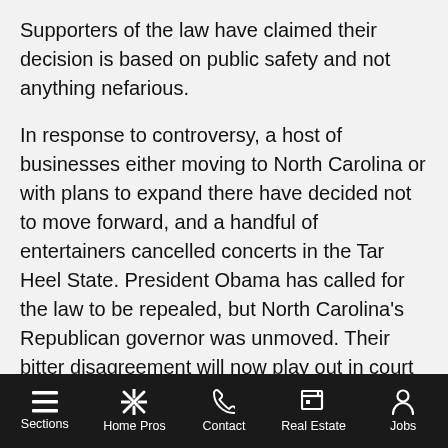Supporters of the law have claimed their decision is based on public safety and not anything nefarious.
In response to controversy, a host of businesses either moving to North Carolina or with plans to expand there have decided not to move forward, and a handful of entertainers cancelled concerts in the Tar Heel State. President Obama has called for the law to be repealed, but North Carolina's Republican governor was unmoved. Their bitter disagreement will now play out in court after both the DOJ and North Carolina filed counter-lawsuits over the issue.
The federal government's directive comes nearly a year after the New York State Department of Education issued its own guidelines last year to educate administrators about transgender rights. Vitelli said it was significant that the
Sections  Home Pros  Contact  Real Estate  Jobs